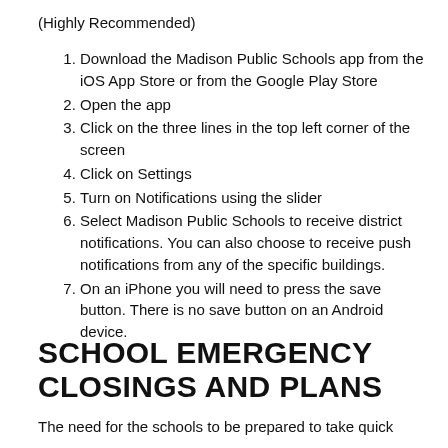(Highly Recommended)
Download the Madison Public Schools app from the iOS App Store or from the Google Play Store
Open the app
Click on the three lines in the top left corner of the screen
Click on Settings
Turn on Notifications using the slider
Select Madison Public Schools to receive district notifications. You can also choose to receive push notifications from any of the specific buildings.
On an iPhone you will need to press the save button. There is no save button on an Android device.
SCHOOL EMERGENCY CLOSINGS AND PLANS
The need for the schools to be prepared to take quick